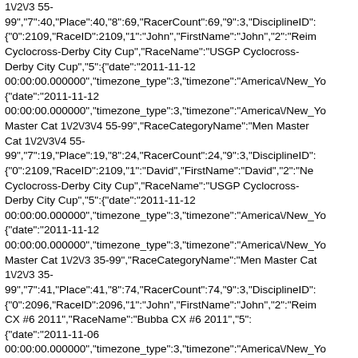1\/2\/3 55-
99","7":40,"Place":40,"8":69,"RacerCount":69,"9":3,"DisciplineID":
{"0":2109,"RaceID":2109,"1":"John","FirstName":"John","2":"Reim
Cyclocross-Derby City Cup","RaceName":"USGP Cyclocross-
Derby City Cup","5":{"date":"2011-11-12
00:00:00.000000","timezone_type":3,"timezone":"America\/New_Yo
{"date":"2011-11-12
00:00:00.000000","timezone_type":3,"timezone":"America\/New_Yo
Master Cat 1\/2\/3\/4 55-99","RaceCategoryName":"Men Master
Cat 1\/2\/3\/4 55-
99","7":19,"Place":19,"8":24,"RacerCount":24,"9":3,"DisciplineID":
{"0":2109,"RaceID":2109,"1":"David","FirstName":"David","2":"Ne
Cyclocross-Derby City Cup","RaceName":"USGP Cyclocross-
Derby City Cup","5":{"date":"2011-11-12
00:00:00.000000","timezone_type":3,"timezone":"America\/New_Yo
{"date":"2011-11-12
00:00:00.000000","timezone_type":3,"timezone":"America\/New_Yo
Master Cat 1\/2\/3 35-99","RaceCategoryName":"Men Master Cat
1\/2\/3 35-
99","7":41,"Place":41,"8":74,"RacerCount":74,"9":3,"DisciplineID":
{"0":2096,"RaceID":2096,"1":"John","FirstName":"John","2":"Reim
CX #6 2011","RaceName":"Bubba CX #6 2011","5":
{"date":"2011-11-06
00:00:00.000000","timezone_type":3,"timezone":"America\/New_Yo
{"date":"2011-11-06
00:00:00.000000","timezone_type":3,"timezone":"America\/New_Yo